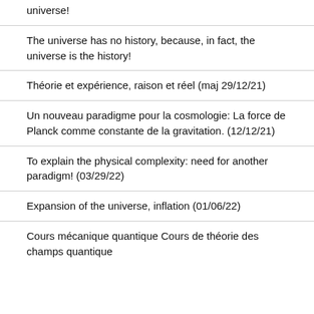universe!
The universe has no history, because, in fact, the universe is the history!
Théorie et expérience, raison et réel (maj 29/12/21)
Un nouveau paradigme pour la cosmologie: La force de Planck comme constante de la gravitation. (12/12/21)
To explain the physical complexity: need for another paradigm! (03/29/22)
Expansion of the universe, inflation (01/06/22)
Cours mécanique quantique Cours de théorie des champs quantique